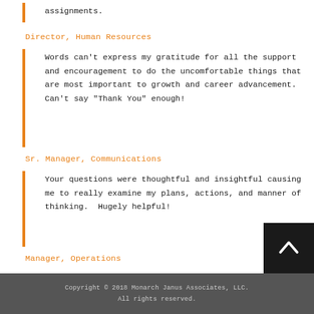assignments.
Director, Human Resources
Words can't express my gratitude for all the support and encouragement to do the uncomfortable things that are most important to growth and career advancement. Can't say "Thank You" enough!
Sr. Manager, Communications
Your questions were thoughtful and insightful causing me to really examine my plans, actions, and manner of thinking.  Hugely helpful!
Manager, Operations
Copyright © 2018 Monarch Janus Associates, LLC.
All rights reserved.